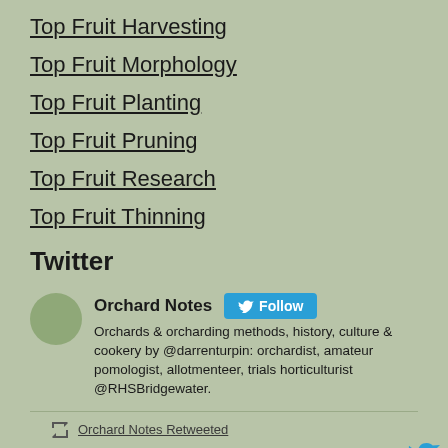Top Fruit Harvesting
Top Fruit Morphology
Top Fruit Planting
Top Fruit Pruning
Top Fruit Research
Top Fruit Thinning
Twitter
Orchard Notes — Follow — Orchards & orcharding methods, history, culture & cookery by @darrenturpin: orchardist, amateur pomologist, allotmenteer, trials horticulturist @RHSBridgewater.
Orchard Notes Retweeted
Kev @englishhomestead · 10h